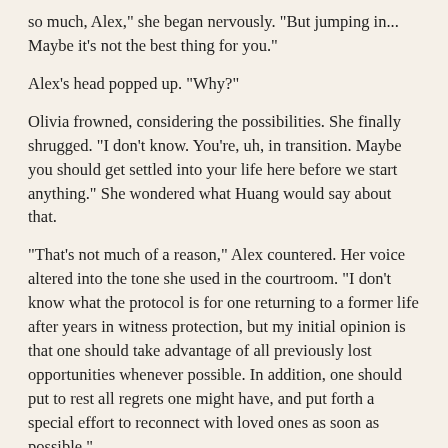so much, Alex," she began nervously. "But jumping in... Maybe it's not the best thing for you."
Alex's head popped up. "Why?"
Olivia frowned, considering the possibilities. She finally shrugged. "I don't know. You're, uh, in transition. Maybe you should get settled into your life here before we start anything." She wondered what Huang would say about that.
"That's not much of a reason," Alex countered. Her voice altered into the tone she used in the courtroom. "I don't know what the protocol is for one returning to a former life after years in witness protection, but my initial opinion is that one should take advantage of all previously lost opportunities whenever possible. In addition, one should put to rest all regrets one might have, and put forth a special effort to reconnect with loved ones as soon as possible."
Loved ones. Olivia tilted her head, adoring the serious expression above her.
"Did you hear me?" Alex said.
Nodding, Olivia took a deep breath. "Those sound like reasonable arguments." She lifted her head for a brief kiss, enjoying the taste of Alex's mouth. But the memory of Mark's kiss intruded, and she